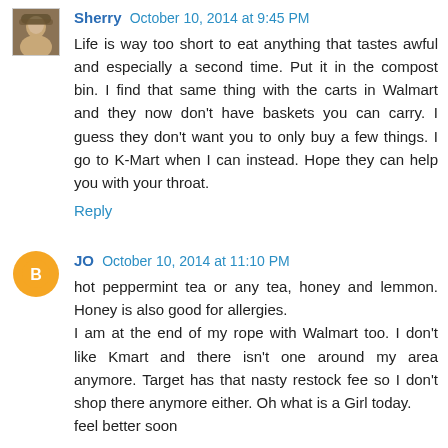Sherry October 10, 2014 at 9:45 PM
Life is way too short to eat anything that tastes awful and especially a second time. Put it in the compost bin. I find that same thing with the carts in Walmart and they now don't have baskets you can carry. I guess they don't want you to only buy a few things. I go to K-Mart when I can instead. Hope they can help you with your throat.
Reply
JO October 10, 2014 at 11:10 PM
hot peppermint tea or any tea, honey and lemmon. Honey is also good for allergies.
I am at the end of my rope with Walmart too. I don't like Kmart and there isn't one around my area anymore. Target has that nasty restock fee so I don't shop there anymore either. Oh what is a Girl today.
feel better soon
Reply
To leave a comment, click the button below to sign in with